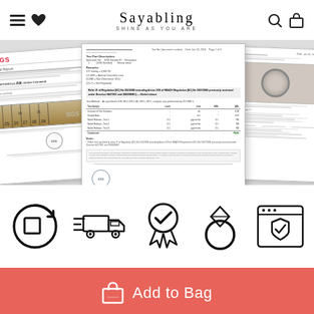Sayabling — Shine As You Are — navigation header with hamburger menu, heart, search, and bag icons
[Figure (screenshot): Three overlapping SGS test report documents shown as a collage on a grey background]
[Figure (infographic): Five icons in a row: return/refresh icon, fast delivery truck icon, certified award/badge icon, diamond ring icon, secure browser/shield icon]
Add to Bag